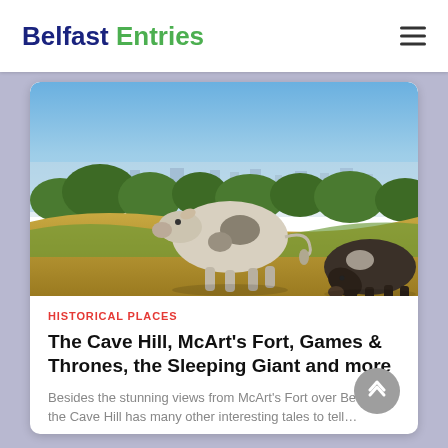Belfast Entries
[Figure (photo): Two cows on a hillside with a panoramic view of Belfast city in the background, green trees and golden grass in the foreground.]
HISTORICAL PLACES
The Cave Hill, McArt's Fort, Games & Thrones, the Sleeping Giant and more
Besides the stunning views from McArt's Fort over Belfast, the Cave Hill has many other interesting tales to tell…